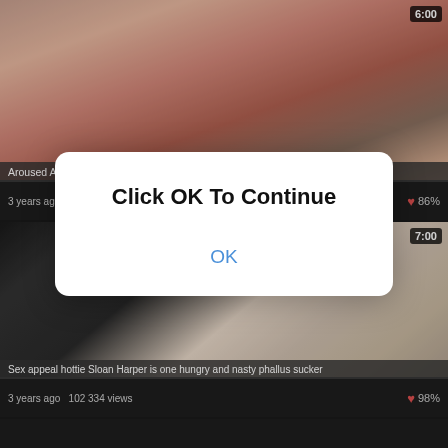[Figure (screenshot): Video thumbnail for 'Aroused Allie Rose braves badly for a juicy long sword', duration 6:00]
Aroused Allie Rose braves badly for a juicy long sword
3 years ago  87 741 views  ♥ 86%
[Figure (screenshot): Video thumbnail for 'Sex appeal hottie Sloan Harper is one hungry and nasty phallus sucker', duration 7:00]
Sex appeal hottie Sloan Harper is one hungry and nasty phallus sucker
3 years ago  102 334 views  ♥ 98%
Click OK To Continue
OK